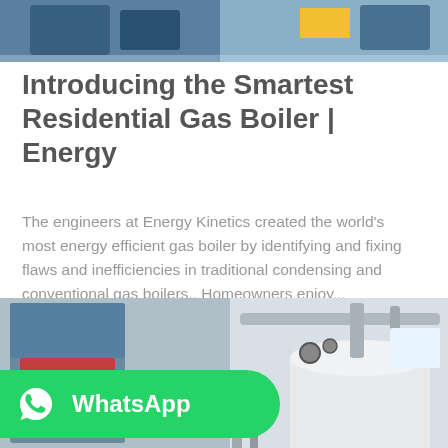[Figure (photo): Top portion of industrial/factory setting, partially visible machinery with blue and yellow elements]
Introducing the Smartest Residential Gas Boiler | Energy
The engineers at Energy Kinetics created the world's most energy efficient gas boiler by identifying and fixing flaws and inefficiencies in traditional condensing and conventional gas boilers.. Homeowners enjoy...
[Figure (photo): Industrial gas boiler equipment in a facility — large cylindrical white boiler tank with blue casing and overhead pipes visible]
[Figure (logo): WhatsApp green button/badge with WhatsApp icon and text 'WhatsApp']